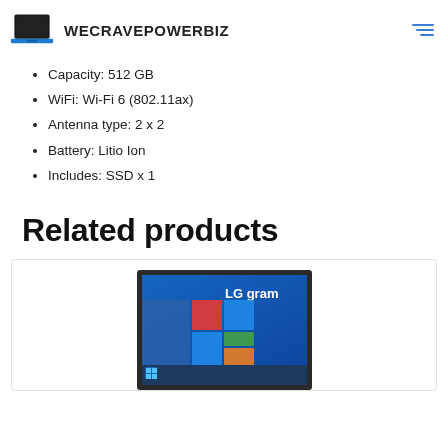WECRAVEPOWERBIZ
Capacity: 512 GB
WiFi: Wi-Fi 6 (802.11ax)
Antenna type: 2 x 2
Battery: Litio Ion
Includes: SSD x 1
Related products
[Figure (photo): LG gram laptop showing Windows 10 desktop, partially visible in a product card]